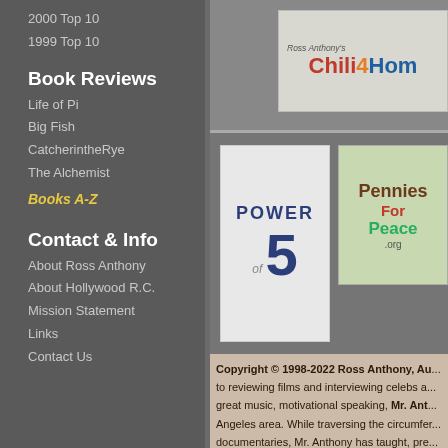2000 Top 10
1999 Top 10
Book Reviews
Life of Pi
Big Fish
CatcherintheRye
The Alchemist
Books A-Z
Contact & Info
About Ross Anthony
About Hollywood R.C.
Mission Statement
Links
Contact Us
[Figure (logo): Ross Anthony's Chili4Hom banner logo]
[Figure (logo): Power of 5 logo]
[Figure (logo): Pennies For Peace logo]
Copyright © 1998-2022 Ross Anthony, Au... to reviewing films and interviewing celebs a... great music, motivational speaking, Mr. Ant... Angeles area. While traversing the circumfer... documentaries, Mr. Anthony has taught, pre... countries & 100 cities (Nairobi to Nagasaki)... wrestled with lions in Zimbabwe, crashed a V... bike across the States (Washington State to W... to "Jinshirou") or schedule Ross to speak ch... into the world and inspire the people you me... good at. Check out books by Ross Anthony. ... yogurt (w/ blueberries) also rock! (Btw, rand... Nutty Dinosaurs" -- which is quite rand, isn't... Kocanda, HAL, Jodie Keszek, Don Haderlei... Ross Anthony. Galati-FE also deserves a sho... optimism. Enjoy great films, read stirring no...